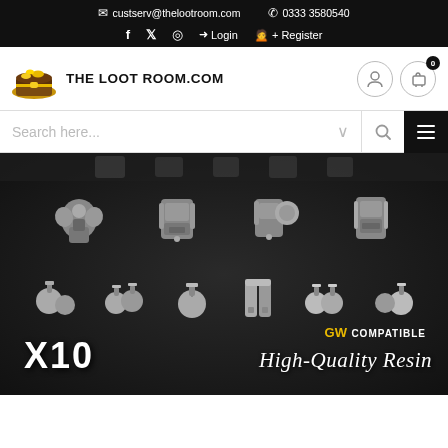custserv@thelootroom.com   0333 3580540   Login   Register
[Figure (logo): The Loot Room logo with treasure chest and text THELOOTROOM.COM]
Search here...
[Figure (photo): Product photo showing X10 miniature backpacks and grenades accessories in high-quality resin, GW Compatible label visible]